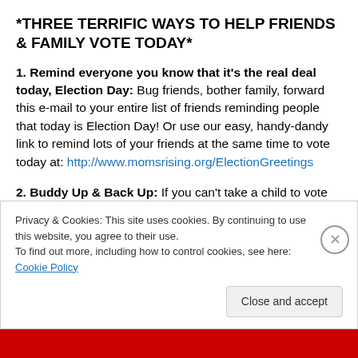*THREE TERRIFIC WAYS TO HELP FRIENDS & FAMILY VOTE TODAY*
1. Remind everyone you know that it's the real deal today, Election Day: Bug friends, bother family, forward this e-mail to your entire list of friends reminding people that today is Election Day! Or use our easy, handy-dandy link to remind lots of your friends at the same time to vote today at: http://www.momsrising.org/ElectionGreetings
2. Buddy Up & Back Up: If you can't take a child to vote
Privacy & Cookies: This site uses cookies. By continuing to use this website, you agree to their use.
To find out more, including how to control cookies, see here: Cookie Policy
Close and accept